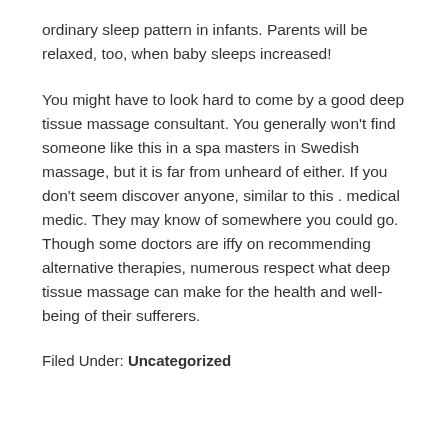ordinary sleep pattern in infants. Parents will be relaxed, too, when baby sleeps increased!
You might have to look hard to come by a good deep tissue massage consultant. You generally won't find someone like this in a spa masters in Swedish massage, but it is far from unheard of either. If you don't seem discover anyone, similar to this . medical medic. They may know of somewhere you could go. Though some doctors are iffy on recommending alternative therapies, numerous respect what deep tissue massage can make for the health and well-being of their sufferers.
Filed Under: Uncategorized